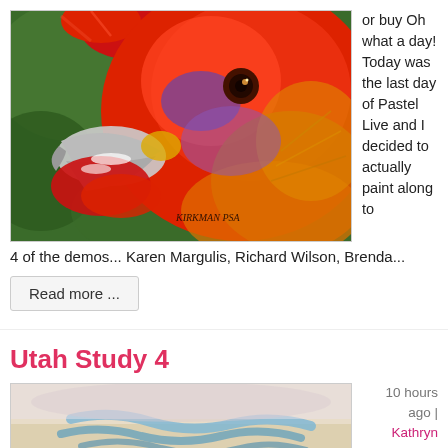[Figure (photo): Close-up pastel painting of a red rooster/chicken face, signed KIRKMAN PSA, with vivid red, green, purple, and gold colors.]
or buy Oh what a day! Today was the last day of Pastel Live and I decided to actually paint along to
4 of the demos... Karen Margulis, Richard Wilson, Brenda...
Read more ...
Utah Study 4
[Figure (photo): Landscape pastel painting showing blue brushstrokes over a beige/sandy background, partial view.]
10 hours ago | Kathryn Townsend